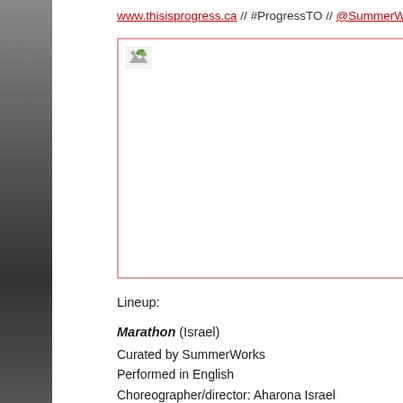www.thisisprogress.ca // #ProgressTO // @SummerWorks
[Figure (photo): Image placeholder with broken image icon in top-left corner, framed with pink/salmon border]
Lineup:
Marathon (Israel)
Curated by SummerWorks
Performed in English
Choreographer/director: Aharona Israel
Actors/dancers/vocals: Ilya Domanov, Merav Dagan, Gal Shamai
February 4-6, 2015